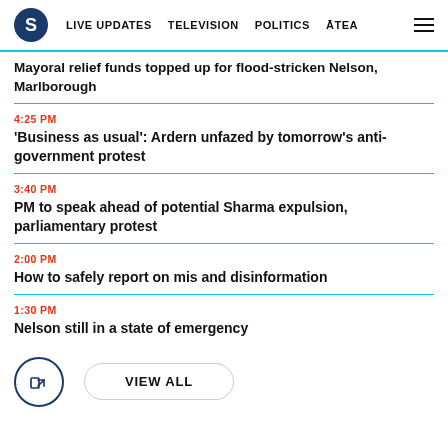S | LIVE UPDATES | TELEVISION | POLITICS | ĀTEA
Mayoral relief funds topped up for flood-stricken Nelson, Marlborough
4:25 PM
'Business as usual': Ardern unfazed by tomorrow's anti-government protest
3:40 PM
PM to speak ahead of potential Sharma expulsion, parliamentary protest
2:00 PM
How to safely report on mis and disinformation
1:30 PM
Nelson still in a state of emergency